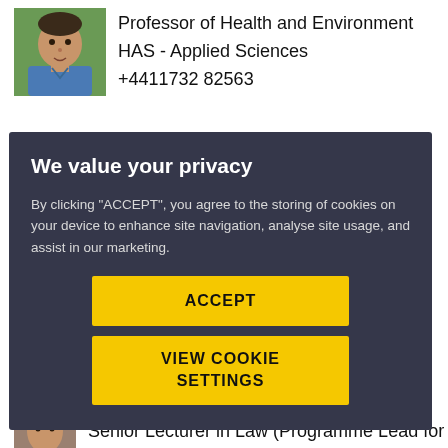[Figure (photo): Head and shoulders photo of a man in a blue shirt outdoors]
Professor of Health and Environment
HAS - Applied Sciences
+4411732 82563
[Figure (photo): Partial photo of a person, cut off by modal overlay, name reads Ace Kowalske]
Ace Kowalske
We value your privacy
By clicking "ACCEPT", you agree to the storing of cookies on your device to enhance site navigation, analyse site usage, and assist in our marketing.
ACCEPT
VIEW COOKIE SETTINGS
[Figure (photo): Partial photo of a person at the bottom of the page]
Senior Lecturer in Law (Programme Lead for